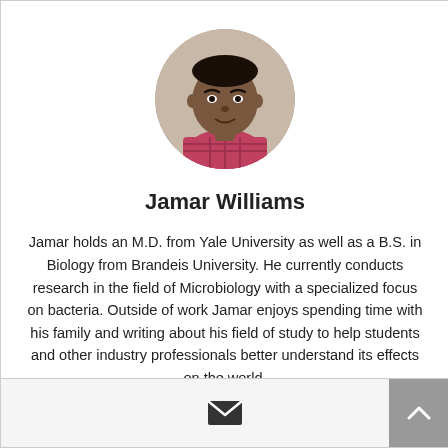[Figure (photo): Circular profile photo of Jamar Williams, a young man wearing a plaid shirt, against a neutral background]
Jamar Williams
Jamar holds an M.D. from Yale University as well as a B.S. in Biology from Brandeis University. He currently conducts research in the field of Microbiology with a specialized focus on bacteria. Outside of work Jamar enjoys spending time with his family and writing about his field of study to help students and other industry professionals better understand its effects on the world.
[Figure (illustration): Envelope/email icon in the footer bar]
[Figure (illustration): Scroll-to-top arrow button in grey box at bottom right]